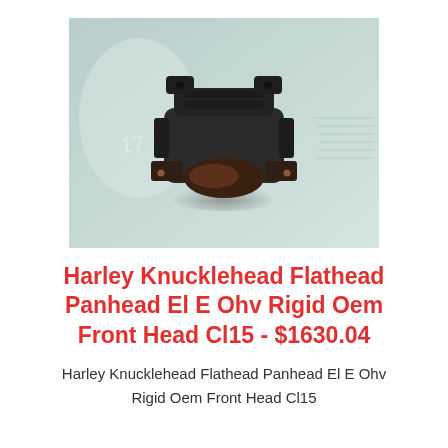[Figure (photo): A dark metal motorcycle engine head component (Harley Knucklehead/Flathead/Panhead front cylinder head) photographed from above on a light teal/grey surface. The part is black/dark brown metal with mounting tabs and bolt holes visible.]
Harley Knucklehead Flathead Panhead El E Ohv Rigid Oem Front Head Cl15 - $1630.04
Harley Knucklehead Flathead Panhead El E Ohv Rigid Oem Front Head Cl15